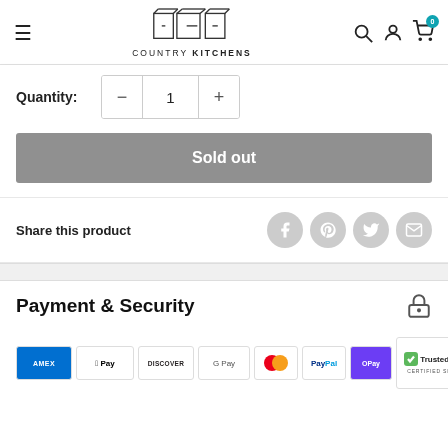[Figure (logo): Country Kitchens logo with navigation header including hamburger menu, search, account, and cart icons]
Quantity: 1
Sold out
Share this product
Payment & Security
[Figure (infographic): Payment method logos: Amex, Apple Pay, Discover, Google Pay, Mastercard, PayPal, OPay, and TrustedSite Certified Secure badge]